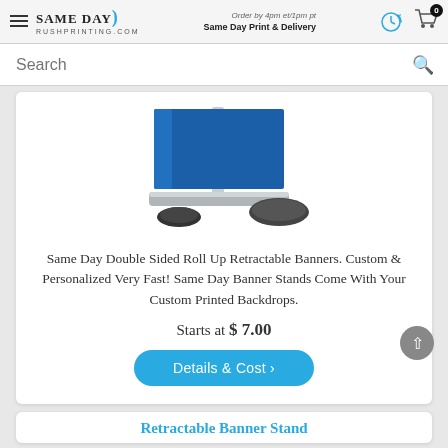Same Day RushPrinting.com — Order by 4pm et/1pm pt Same Day Print & Delivery
Search
[Figure (photo): Photo of a blue double-sided roll-up retractable banner stand with a blue printed graphic panel, shown partially from the base/bottom angle against a white background.]
Same Day Double Sided Roll Up Retractable Banners. Custom & Personalized Very Fast! Same Day Banner Stands Come With Your Custom Printed Backdrops.
Starts at $ 7.00
Details & Cost >
Retractable Banner Stand